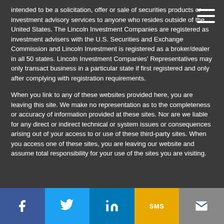intended to be a solicitation, offer or sale of securities products or investment advisory services to anyone who resides outside of the United States. The Lincoln Investment Companies are registered as investment advisers with the U.S. Securities and Exchange Commission and Lincoln Investment is registered as a broker/dealer in all 50 states. Lincoln Investment Companies' Representatives may only transact business in a particular state if first registered and only after complying with registration requirements.
When you link to any of these websites provided here, you are leaving this site. We make no representation as to the completeness or accuracy of information provided at these sites. Nor are we liable for any direct or indirect technical or system issues or consequences arising out of your access to or use of these third-party sites. When you access one of these sites, you are leaving our website and assume total responsibility for your use of the sites you are visiting.